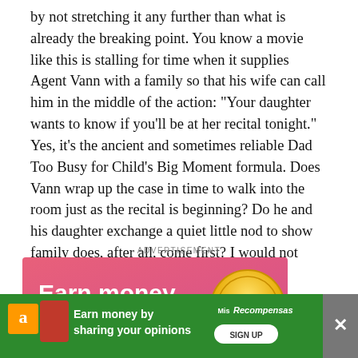by not stretching it any further than what is already the breaking point. You know a movie like this is stalling for time when it supplies Agent Vann with a family so that his wife can call him in the middle of the action: "Your daughter wants to know if you'll be at her recital tonight." Yes, it's the ancient and sometimes reliable Dad Too Busy for Child's Big Moment formula. Does Vann wrap up the case in time to walk into the room just as the recital is beginning? Do he and his daughter exchange a quiet little nod to show family does, after all, come first? I would not dream of giving away such a plot detail.
[Figure (other): Advertisement banner: pink background with gold coin showing dollar sign, text 'Earn money by sharing...' partially visible]
[Figure (other): Bottom advertisement overlay: green background with Amazon logo, text 'Earn money by sharing your opinions', Mis Recompensas logo, SIGN UP button. Close button (X) on the right.]